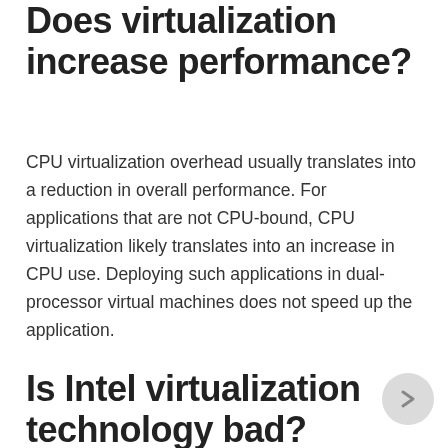Does virtualization increase performance?
CPU virtualization overhead usually translates into a reduction in overall performance. For applications that are not CPU-bound, CPU virtualization likely translates into an increase in CPU use. Deploying such applications in dual-processor virtual machines does not speed up the application.
Is Intel virtualization technology bad?